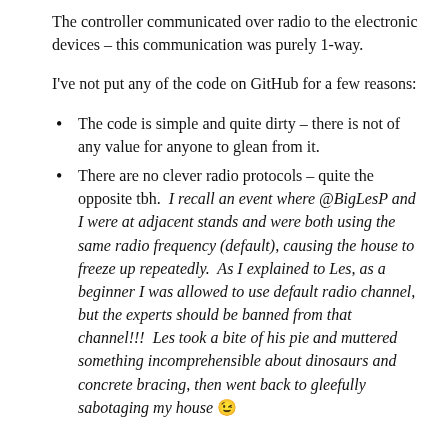The controller communicated over radio to the electronic devices – this communication was purely 1-way.
I've not put any of the code on GitHub for a few reasons:
The code is simple and quite dirty – there is not of any value for anyone to glean from it.
There are no clever radio protocols – quite the opposite tbh. I recall an event where @BigLesP and I were at adjacent stands and were both using the same radio frequency (default), causing the house to freeze up repeatedly. As I explained to Les, as a beginner I was allowed to use default radio channel, but the experts should be banned from that channel!!! Les took a bite of his pie and muttered something incomprehensible about dinosaurs and concrete bracing, then went back to gleefully sabotaging my house 😉